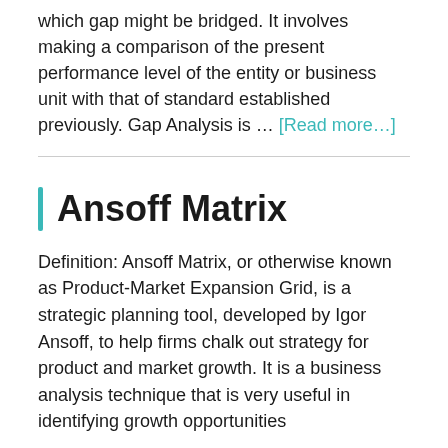which gap might be bridged. It involves making a comparison of the present performance level of the entity or business unit with that of standard established previously. Gap Analysis is … [Read more…]
Ansoff Matrix
Definition: Ansoff Matrix, or otherwise known as Product-Market Expansion Grid, is a strategic planning tool, developed by Igor Ansoff, to help firms chalk out strategy for product and market growth. It is a business analysis technique that is very useful in identifying growth opportunities